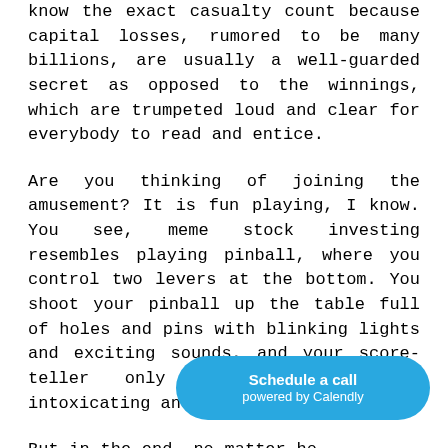know the exact casualty count because capital losses, rumored to be many billions, are usually a well-guarded secret as opposed to the winnings, which are trumpeted loud and clear for everybody to read and entice.
Are you thinking of joining the amusement? It is fun playing, I know. You see, meme stock investing resembles playing pinball, where you control two levers at the bottom. You shoot your pinball up the table full of holes and pins with blinking lights and exciting sounds, and your score-teller only goes up. It is intoxicating and instantly gratifying.
But in the end, no matter ho... ball in play, it will vanish in a... Game-over! You hope to have another quarter...
[Figure (other): Schedule a call powered by Calendly button overlay in blue]